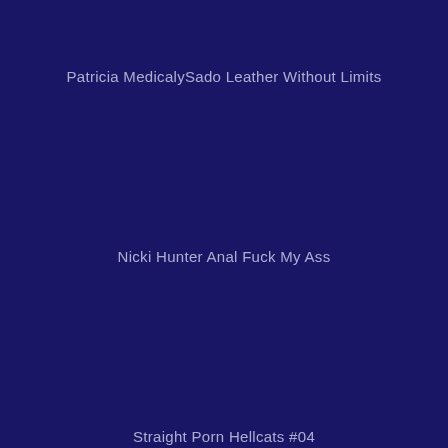Patricia MedicalySado Leather Without Limits
Nicki Hunter Anal Fuck My Ass
Straight Porn Hellcats #04
Daniela Masturbation Glassdildo
Kagney Linn Karter Sports Cock-Arm Wrestling
Olivia Y. Fetish Ouvert Gagged